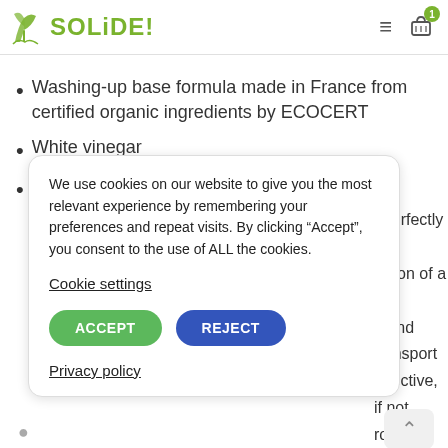SOLIDE! [logo with cart and hamburger menu]
Washing-up base formula made in France from certified organic ingredients by ECOCERT
White vinegar
We use cookies on our website to give you the most relevant experience by remembering your preferences and repeat visits. By clicking “Accept”, you consent to the use of ALL the cookies.
Cookie settings
ACCEPT
REJECT
Privacy policy
t perfectly the ission of a lot g and transport effective, if not roduct, the s, degreases aving a trace. It mat means ou need (no